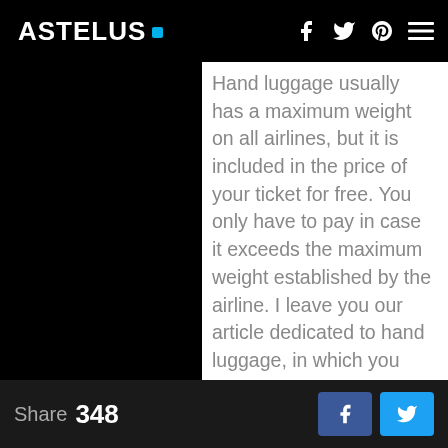ASTELUS .
Hand luggage usually has a maximum weight on all airlines, but it is included in the price of your ticket for free. You only have to pay in case it exceeds the maximum weight established by the airline. I leave you our article dedicated to hand luggage, in which you can find
Share 348